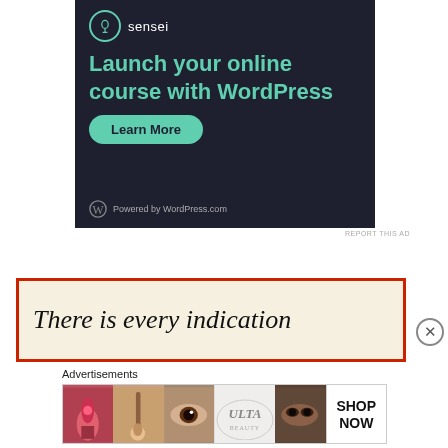[Figure (screenshot): Sensei/WordPress advertisement on dark navy background with teal headline 'Launch your online course with WordPress', a 'Learn More' teal button, Sensei logo, and 'Powered by WordPress.com' footer.]
REPORT THIS AD
[Figure (screenshot): Newspaper article snippet with red border on aged/cream background showing italic serif text 'There is every indication' with more text partially visible below.]
Advertisements
[Figure (photo): Ulta Beauty advertisement banner showing cosmetic makeup images (lipstick, brush, eye) and ULTA logo with 'SHOP NOW' text.]